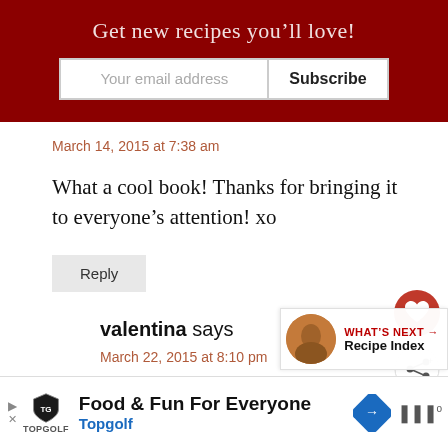Get new recipes you'll love!
March 14, 2015 at 7:38 am
What a cool book! Thanks for bringing it to everyone's attention! xo
Reply
valentina says
March 22, 2015 at 8:10 pm
David, this book is awesome! A great reference book to have at the ready in the
Food & Fun For Everyone Topgolf